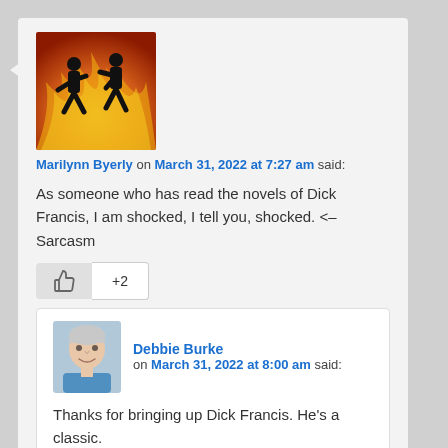[Figure (photo): Avatar image showing two silhouetted figures dancing against a fire background]
Marilynn Byerly on March 31, 2022 at 7:27 am said:
As someone who has read the novels of Dick Francis, I am shocked, I tell you, shocked. <– Sarcasm
[Figure (photo): Avatar photo of Debbie Burke, a woman with short hair wearing a blue shirt]
Debbie Burke on March 31, 2022 at 8:00 am said:
Thanks for bringing up Dick Francis. He's a classic.